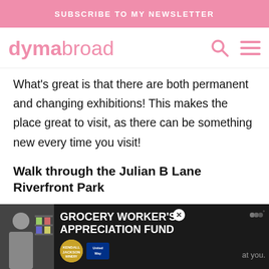SUBSCRIBE TO MY NEWSLETTER
dymabroad
What's great is that there are both permanent and changing exhibitions! This makes the place great to visit, as there can be something new every time you visit!
Walk through the Julian B Lane Riverfront Park
After walking through nature and learning about history, it's time to see another park.
[Figure (other): Advertisement banner: Grocery Worker's Appreciation Fund with Kendall-Jackson and United Way logos]